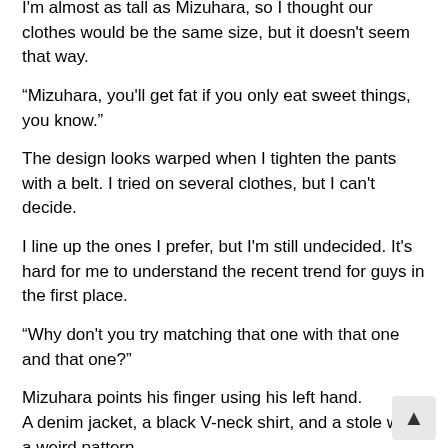I'm almost as tall as Mizuhara, so I thought our clothes would be the same size, but it doesn't seem that way.
“Mizuhara, you'll get fat if you only eat sweet things, you know.”
The design looks warped when I tighten the pants with a belt. I tried on several clothes, but I can't decide.
I line up the ones I prefer, but I'm still undecided. It's hard for me to understand the recent trend for guys in the first place.
“Why don't you try matching that one with that one and that one?”
Mizuhara points his finger using his left hand.
A denim jacket, a black V-neck shirt, and a stole with a weird pattern.
“You can just wear your jeans with those. No matter how